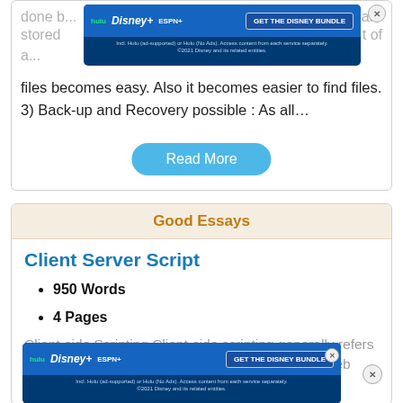done b... iles are stored a... of files becomes easy. Also it becomes easier to find files. 3) Back-up and Recovery possible : As all…
[Figure (screenshot): Disney Bundle advertisement banner (Hulu, Disney+, ESPN+) with GET THE DISNEY BUNDLE CTA button and small print text]
Read More
Good Essays
Client Server Script
950 Words
4 Pages
Client-side Scripting Client-side scripting generally refers to the... are execu... stead of server-side (on the web server) [1]. This type of computer
[Figure (screenshot): Disney Bundle advertisement banner (Hulu, Disney+, ESPN+) with GET THE DISNEY BUNDLE CTA button and small print text, second instance]